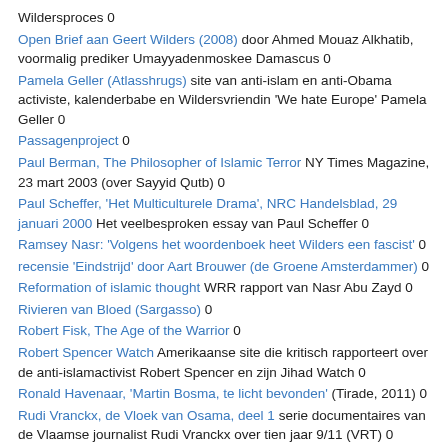Wildersproces 0
Open Brief aan Geert Wilders (2008) door Ahmed Mouaz Alkhatib, voormalig prediker Umayyadenmoskee Damascus 0
Pamela Geller (Atlasshrugs) site van anti-islam en anti-Obama activiste, kalenderbabe en Wildersvriendin 'We hate Europe' Pamela Geller 0
Passagenproject 0
Paul Berman, The Philosopher of Islamic Terror NY Times Magazine, 23 mart 2003 (over Sayyid Qutb) 0
Paul Scheffer, 'Het Multiculturele Drama', NRC Handelsblad, 29 januari 2000 Het veelbesproken essay van Paul Scheffer 0
Ramsey Nasr: 'Volgens het woordenboek heet Wilders een fascist' 0
recensie 'Eindstrijd' door Aart Brouwer (de Groene Amsterdammer) 0
Reformation of islamic thought WRR rapport van Nasr Abu Zayd 0
Rivieren van Bloed (Sargasso) 0
Robert Fisk, The Age of the Warrior 0
Robert Spencer Watch Amerikaanse site die kritisch rapporteert over de anti-islamactivist Robert Spencer en zijn Jihad Watch 0
Ronald Havenaar, 'Martin Bosma, te licht bevonden' (Tirade, 2011) 0
Rudi Vranckx, de Vloek van Osama, deel 1 serie documentaires van de Vlaamse journalist Rudi Vranckx over tien jaar 9/11 (VRT) 0